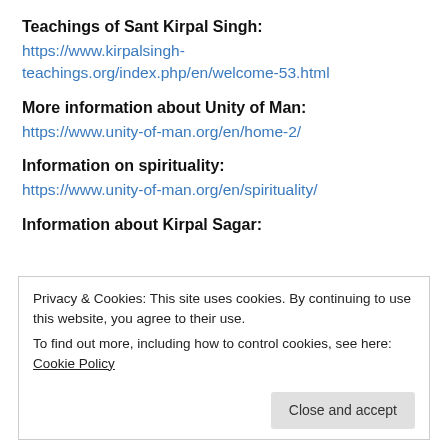Teachings of Sant Kirpal Singh:
https://www.kirpalsingh-teachings.org/index.php/en/welcome-53.html
More information about Unity of Man:
https://www.unity-of-man.org/en/home-2/
Information on spirituality:
https://www.unity-of-man.org/en/spirituality/
Information about Kirpal Sagar:
Privacy & Cookies: This site uses cookies. By continuing to use this website, you agree to their use.
To find out more, including how to control cookies, see here: Cookie Policy